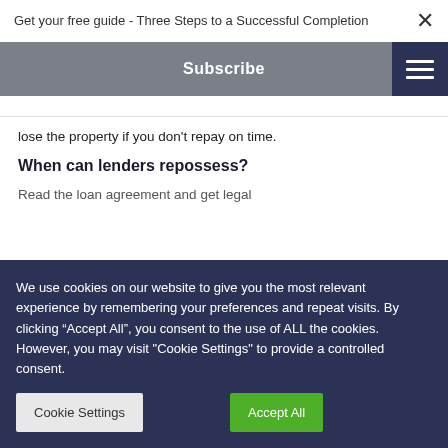Get your free guide - Three Steps to a Successful Completion
Subscribe
lose the property if you don't repay on time.
When can lenders repossess?
Read the loan agreement and get legal
We use cookies on our website to give you the most relevant experience by remembering your preferences and repeat visits. By clicking "Accept All", you consent to the use of ALL the cookies. However, you may visit "Cookie Settings" to provide a controlled consent.
Cookie Settings
Accept All